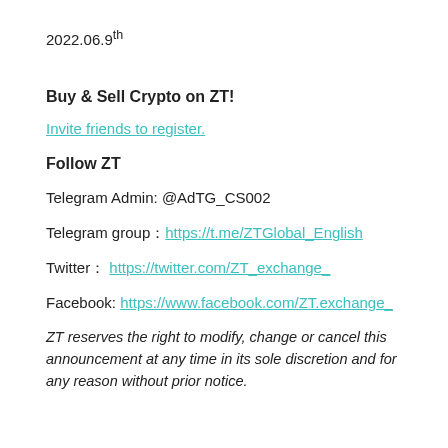2022.06.9th
Buy & Sell Crypto on ZT!
Invite friends to register.
Follow ZT
Telegram Admin: @AdTG_CS002
Telegram group：https://t.me/ZTGlobal_English
Twitter： https://twitter.com/ZT_exchange_
Facebook: https://www.facebook.com/ZT.exchange_
ZT reserves the right to modify, change or cancel this announcement at any time in its sole discretion and for any reason without prior notice.